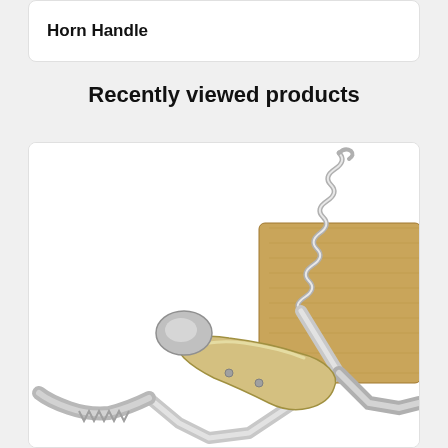Horn Handle
Recently viewed products
[Figure (photo): Close-up photo of a corkscrew/wine opener with a horn handle and silver metallic body, shown next to a wooden block with the corkscrew worm inserted into it]